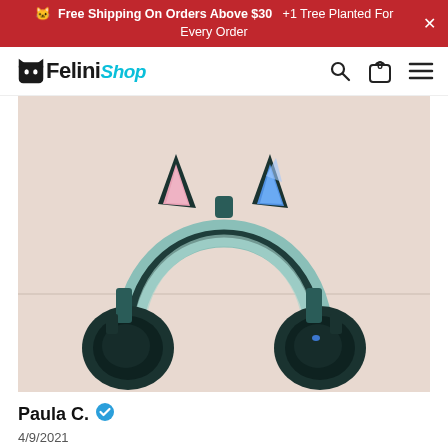🐱 Free Shipping On Orders Above $30   +1 Tree Planted For Every Order
[Figure (logo): Felini Shop logo with cat icon]
[Figure (photo): Cat ear headphones with LED-lit ears (pink left, blue right) sitting on a light pink surface. The headphones are dark teal/black with a mint green headband.]
Paula C. ✔
4/9/2021